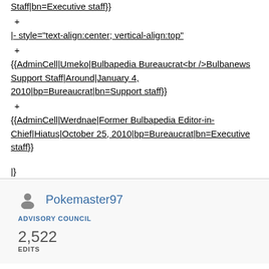Staff|bn=Executive staff}}
+
|- style="text-align:center; vertical-align:top"
+
{{AdminCell|Umeko|Bulbapedia Bureaucrat<br />Bulbanews Support Staff|Around|January 4, 2010|bp=Bureaucrat|bn=Support staff}}
+
{{AdminCell|Werdnae|Former Bulbapedia Editor-in-Chief|Hiatus|October 25, 2010|bp=Bureaucrat|bn=Executive staff}}
|}
Pokemaster97
ADVISORY COUNCIL
2,522
EDITS